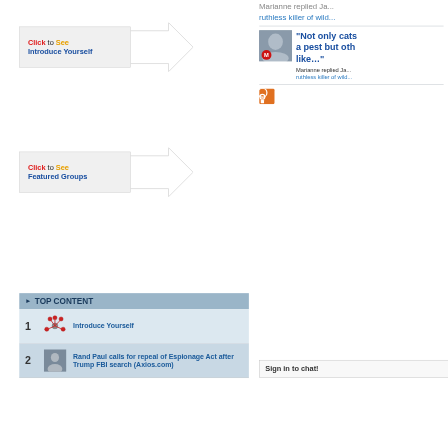[Figure (infographic): Arrow button graphic saying 'Click to See Introduce Yourself' with a white arrow pointing right]
[Figure (infographic): Arrow button graphic saying 'Click to See Featured Groups' with a white arrow pointing right]
Marianne replied Ja... ruthless killer of wild...
"Not only cats a pest but oth like..."
Marianne replied Ja... ruthless killer of wild...
[Figure (logo): RSS feed icon]
TOP CONTENT
1  Introduce Yourself
2  Rand Paul calls for repeal of Espionage Act after Trump FBI search (Axios.com)
Sign in to chat!